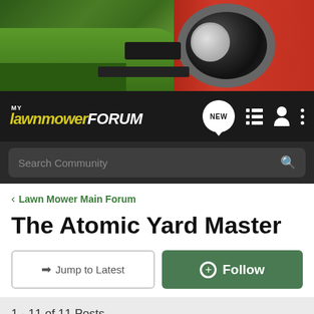[Figure (photo): Hero banner image showing a red lawn mower machine close-up with large black tire and green grass background]
[Figure (logo): My Lawnmower Forum logo in yellow italic text on dark navbar with navigation icons including NEW chat bubble, list icon, person icon, and three-dot menu]
Search Community
< Lawn Mower Main Forum
The Atomic Yard Master
→ Jump to Latest
+ Follow
1 - 11 of 11 Posts
Barbosa · Registered
Joined Jul 14, 2010 · 30 Posts